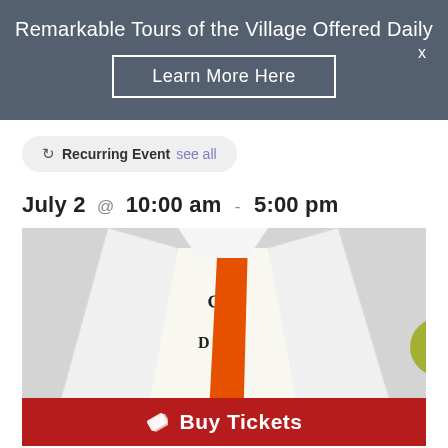Remarkable Tours of the Village Offered Daily
Learn More Here
Recurring Event see all
July 2 @ 10:00 am - 5:00 pm
[Figure (photo): A figure wearing a white garment with black typography print and an orange sash/ribbon in the center, displayed against a light grey background. A red 'Buy Tickets' bar overlays the bottom of the image.]
Buy Tickets